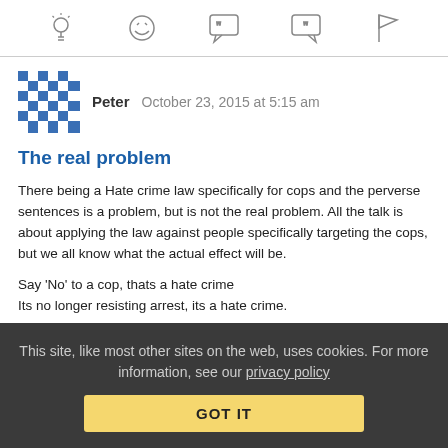[Figure (other): Toolbar with icons: lightbulb, laughing emoji, left-quote speech bubble, right-quote speech bubble, flag]
Peter  October 23, 2015 at 5:15 am
The real problem
There being a Hate crime law specifically for cops and the perverse sentences is a problem, but is not the real problem. All the talk is about applying the law against people specifically targeting the cops, but we all know what the actual effect will be.
Say 'No' to a cop, thats a hate crime
Its no longer resisting arrest, its a hate crime.
This site, like most other sites on the web, uses cookies. For more information, see our privacy policy
GOT IT